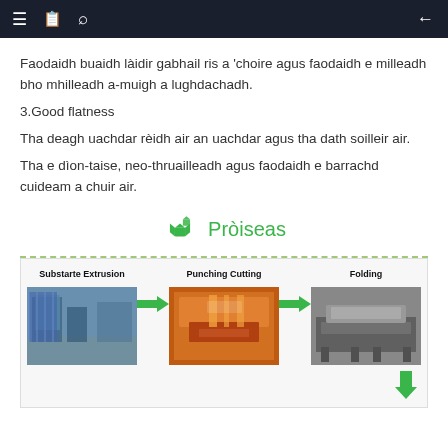≡  📋  🔍  ←
Faodaidh buaidh làidir gabhail ris a 'choire agus faodaidh e milleadh bho mhilleadh a-muigh a lughdachadh.
3.Good flatness
Tha deagh uachdar rèidh air an uachdar agus tha dath soilleir air.
Tha e dìon-taise, neo-thruailleadh agus faodaidh e barrachd cuideam a chuir air.
Pròiseas
[Figure (infographic): Manufacturing process flow diagram showing three steps: Substarte Extrusion (photo of factory floor), arrow, Punching Cutting (photo of orange cutting machine), arrow, Folding (photo of folding machine). Green arrows connect the steps.]